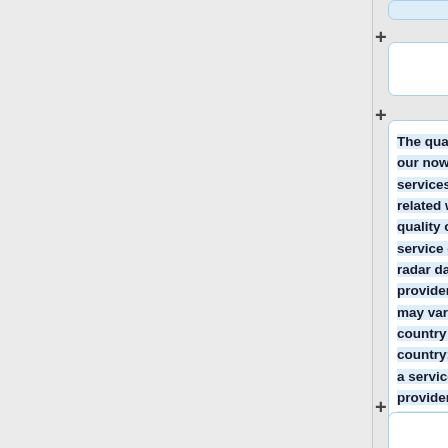[Figure (screenshot): A UI/flowchart interface showing card-based content blocks with plus buttons for adding nodes. The left portion is a gray panel. On the right side, several rounded rectangle cards are visible connected by plus-sign buttons. One card contains highlighted text about nowcasting services quality. Another card appears empty. A code card at the bottom shows '{l' and partial text.]
The quality of our nowcasting services is related with the quality of service of the radar data providers, it may vary from country to country; but as a service provider since 2014, we are a provened player in this area.